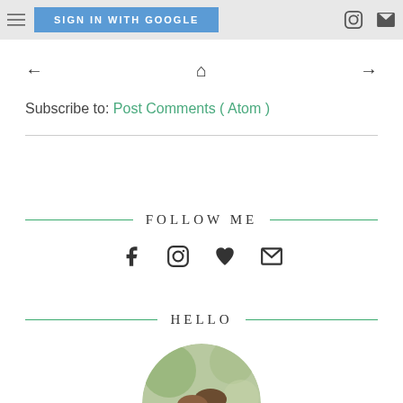SIGN IN WITH GOOGLE
← 🏠 →
Subscribe to: Post Comments ( Atom )
FOLLOW ME
[Figure (infographic): Social media icons row: Facebook, Instagram, heart/Bloglovin, email envelope]
HELLO
[Figure (photo): Circular profile photo showing two people outdoors with blurred green background]